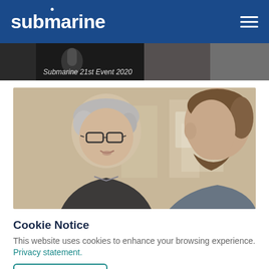submarine
[Figure (photo): Banner strip showing 'Submarine 21st Event 2020' text overlay on a dark event photo]
[Figure (photo): Close-up photo of two men in conversation — a middle-aged man with grey hair and glasses on the left facing a younger bearded man on the right]
Cookie Notice
This website uses cookies to enhance your browsing experience. Privacy statement.
Accept Cookies